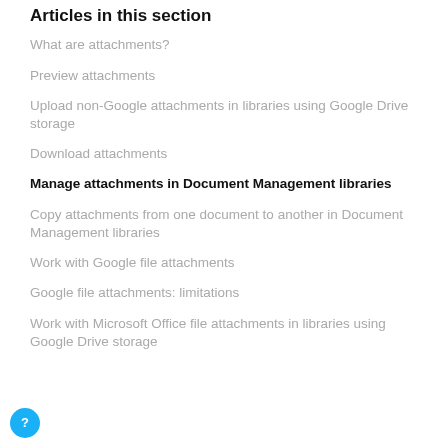Articles in this section
What are attachments?
Preview attachments
Upload non-Google attachments in libraries using Google Drive storage
Download attachments
Manage attachments in Document Management libraries
Copy attachments from one document to another in Document Management libraries
Work with Google file attachments
Google file attachments: limitations
Work with Microsoft Office file attachments in libraries using Google Drive storage